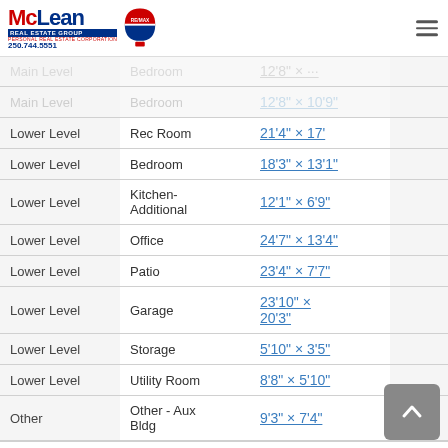[Figure (logo): McLean Real Estate Group RE/MAX logo with red and blue text and balloon icon]
| Floor | Room | Dimensions |  |
| --- | --- | --- | --- |
| Main Level | Bedroom | 12'8" × (cut off) |  |
| Main Level | Bedroom | 12'8" × 10'9" |  |
| Lower Level | Rec Room | 21'4" × 17' |  |
| Lower Level | Bedroom | 18'3" × 13'1" |  |
| Lower Level | Kitchen-Additional | 12'1" × 6'9" |  |
| Lower Level | Office | 24'7" × 13'4" |  |
| Lower Level | Patio | 23'4" × 7'7" |  |
| Lower Level | Garage | 23'10" × 20'3" |  |
| Lower Level | Storage | 5'10" × 3'5" |  |
| Lower Level | Utility Room | 8'8" × 5'10" |  |
| Other | Other - Aux Bldg | 9'3" × 7'4" |  |
Bathrooms:
| Floor | Ensuite | Pieces | Other |
| --- | --- | --- | --- |